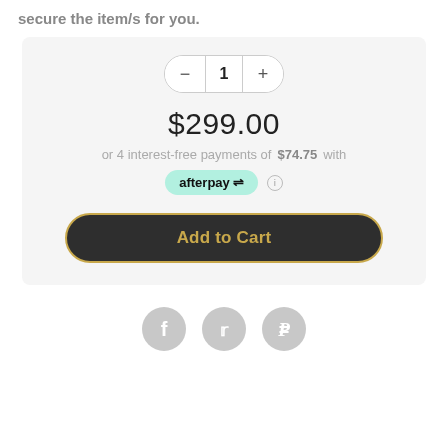secure the item/s for you.
[Figure (screenshot): E-commerce product purchase UI with quantity selector showing '1', price '$299.00', Afterpay installment text 'or 4 interest-free payments of $74.75 with afterpay', an 'Add to Cart' dark rounded button with gold text, and three social sharing icons (Facebook, Twitter, Pinterest) at the bottom.]